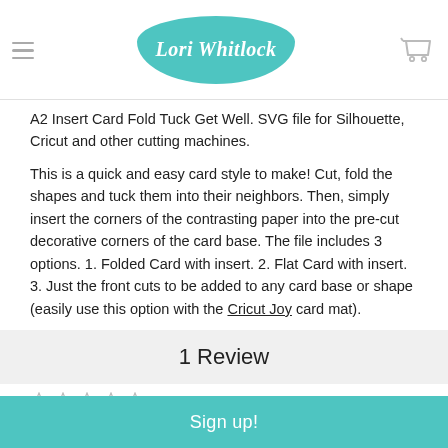Lori Whitlock
A2 Insert Card Fold Tuck Get Well. SVG file for Silhouette, Cricut and other cutting machines.
This is a quick and easy card style to make! Cut, fold the shapes and tuck them into their neighbors. Then, simply insert the corners of the contrasting paper into the pre-cut decorative corners of the card base. The file includes 3 options. 1. Folded Card with insert. 2. Flat Card with insert. 3. Just the front cuts to be added to any card base or shape (easily use this option with the Cricut Joy card mat).
VIEW ALL
1 Review
★ ★ ★ ★ ★
Get well
Sign up!